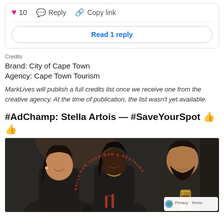[Figure (screenshot): Comment interaction bar with heart (10), Reply, and Copy link buttons, plus a 'Read 1 reply' button]
Credits
Brand: City of Cape Town
Agency: Cape Town Tourism
MarkLives will publish a full credits list once we receive one from the creative agency. At the time of publication, the list wasn't yet available.
#AdChamp: Stella Artois — #SaveYourSpot 👍 👍
[Figure (photo): Group of people in a bar setting, smiling. Overlaid red circular text reads 'RALLY FOR YOUR BAR & RESTAURANT'. Beer glasses visible. Privacy/Terms badge in lower right corner.]